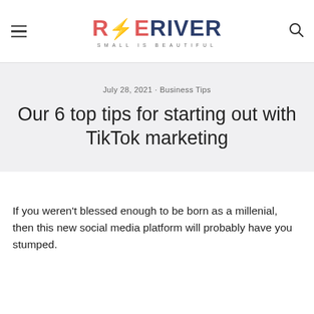ROE RIVER — SMALL IS BEAUTIFUL
July 28, 2021 · Business Tips
Our 6 top tips for starting out with TikTok marketing
If you weren't blessed enough to be born as a millenial, then this new social media platform will probably have you stumped.